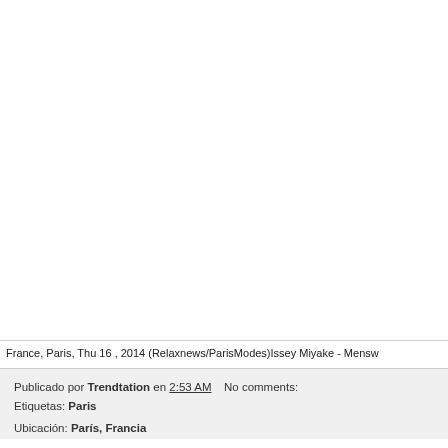[Figure (photo): Blank white image area (photo content not visible in this crop)]
France, Paris, Thu 16 , 2014 (Relaxnews/ParisModes)Issey Miyake - Mensw
Publicado por Trendtation en 2:53 AM    No comments:
Etiquetas: Paris
Ubicación: París, Francia